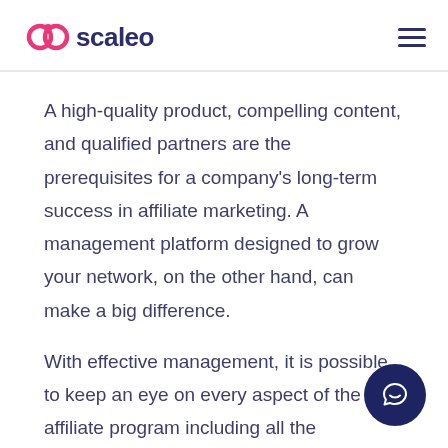scaleo
A high-quality product, compelling content, and qualified partners are the prerequisites for a company's long-term success in affiliate marketing. A management platform designed to grow your network, on the other hand, can make a big difference.
With effective management, it is possible to keep an eye on every aspect of the affiliate program including all the necessary tracking and monitoring of an affiliate's performance, as well as